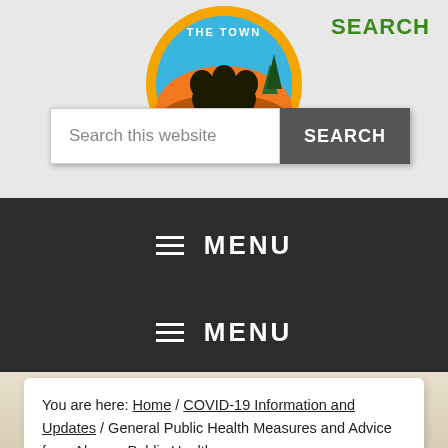[Figure (logo): Circular municipal logo with text 'THE TOWN' and nature imagery including trees and sunrise/sunset, with a yellow and orange border]
SEARCH
Search this website
SEARCH
≡ MENU
≡ MENU
You are here: Home / COVID-19 Information and Updates / General Public Health Measures and Advice from Algoma Public Health